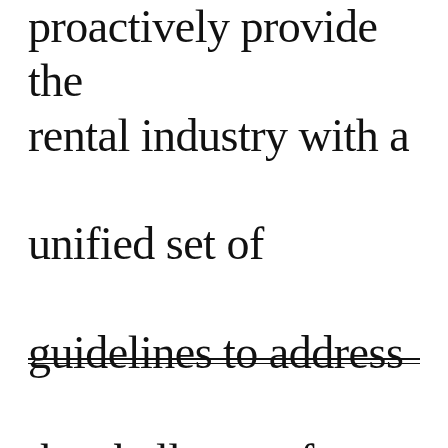proactively provide the rental industry with a unified set of guidelines to address the challenge of reopening safely.